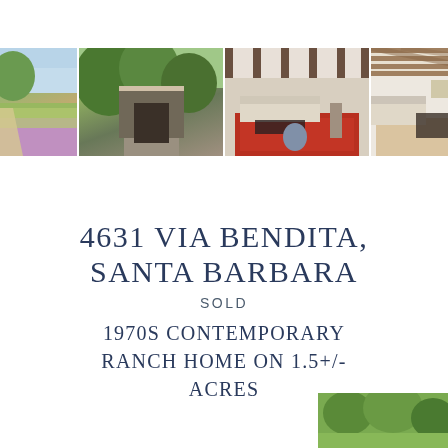[Figure (photo): Four property photos shown side by side in a grid with left and right navigation arrows. Photos show: exterior garden/lavender field, home entrance with lush greenery, interior living room with exposed beams and red rug, interior living room with white walls and wooden ceiling beams.]
4631 VIA BENDITA, SANTA BARBARA
SOLD
1970S CONTEMPORARY RANCH HOME ON 1.5+/- ACRES
[Figure (photo): Partial photo visible at bottom right corner of page, showing green vegetation/garden.]